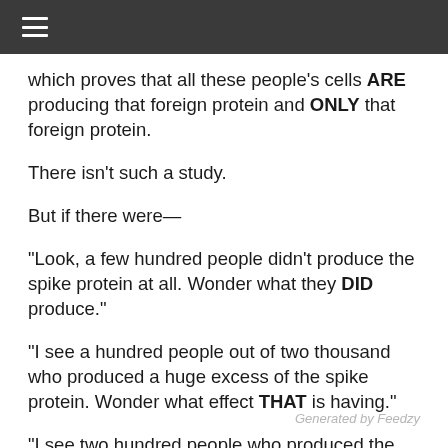≡
which proves that all these people's cells ARE producing that foreign protein and ONLY that foreign protein.
There isn't such a study.
But if there were—
“Look, a few hundred people didn’t produce the spike protein at all. Wonder what they DID produce.”
“I see a hundred people out of two thousand who produced a huge excess of the spike protein. Wonder what effect THAT is having.”
“I see two hundred people who produced the spike protein plus a bunch of other foreign proteins. A